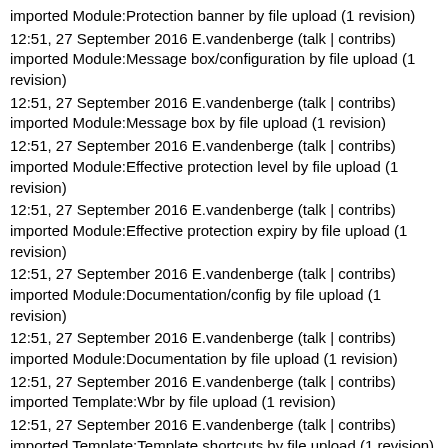imported Module:Protection banner by file upload (1 revision)
12:51, 27 September 2016 E.vandenberge (talk | contribs) imported Module:Message box/configuration by file upload (1 revision)
12:51, 27 September 2016 E.vandenberge (talk | contribs) imported Module:Message box by file upload (1 revision)
12:51, 27 September 2016 E.vandenberge (talk | contribs) imported Module:Effective protection level by file upload (1 revision)
12:51, 27 September 2016 E.vandenberge (talk | contribs) imported Module:Effective protection expiry by file upload (1 revision)
12:51, 27 September 2016 E.vandenberge (talk | contribs) imported Module:Documentation/config by file upload (1 revision)
12:51, 27 September 2016 E.vandenberge (talk | contribs) imported Module:Documentation by file upload (1 revision)
12:51, 27 September 2016 E.vandenberge (talk | contribs) imported Template:Wbr by file upload (1 revision)
12:51, 27 September 2016 E.vandenberge (talk | contribs) imported Template:Template shortcuts by file upload (1 revision)